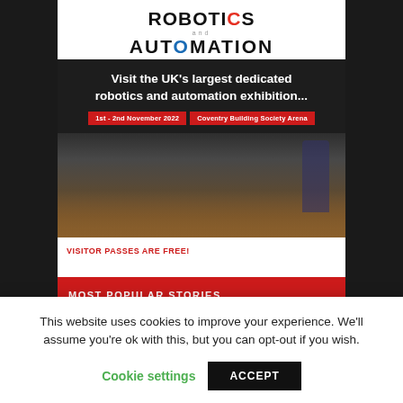[Figure (logo): Robotics and Automation logo with red and blue letter accents]
[Figure (photo): Exhibition banner with dark background showing headline 'Visit the UK's largest dedicated robotics and automation exhibition...' with date 1st - 2nd November 2022 and venue Coventry Building Society Arena, plus audience photo and VISITOR PASSES ARE FREE text]
MOST POPULAR STORIES
This website uses cookies to improve your experience. We'll assume you're ok with this, but you can opt-out if you wish.
Cookie settings   ACCEPT